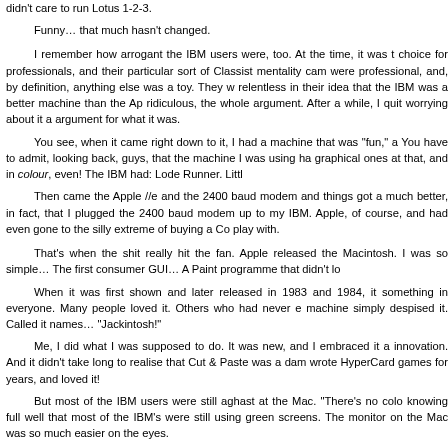didn't care to run Lotus 1-2-3.
        Funny… that much hasn't changed.

        I remember how arrogant the IBM users were, too. At the time, it was the choice for professionals, and their particular sort of Classist mentality came were professional, and, by definition, anything else was a toy. They w relentless in their idea that the IBM was a better machine than the Ap ridiculous, the whole argument. After a while, I quit worrying about it a argument for what it was.
        You see, when it came right down to it, I had a machine that was "fun," a You have to admit, looking back, guys, that the machine I was using ha graphical ones at that, and in colour, even! The IBM had: Lode Runner. Littl
        Then came the Apple //e and the 2400 baud modem and things got a much better, in fact, that I plugged the 2400 baud modem up to my IBM. Apple, of course, and had even gone to the silly extreme of buying a Co play with.

        That's when the shit really hit the fan. Apple released the Macintosh. was so simple… The first consumer GUI… A Paint programme that didn't lo
        When it was first shown and later released in 1983 and 1984, it something in everyone. Many people loved it. Others who had never e machine simply despised it. Called it names… "Jackintosh!"
        Me, I did what I was supposed to do. It was new, and I embraced it a innovation. And it didn't take long to realise that Cut & Paste was a dam wrote HyperCard games for years, and loved it!
        But most of the IBM users were still aghast at the Mac. "There's no colo knowing full well that most of the IBM's were still using green screens. The monitor on the Mac was so much easier on the eyes.